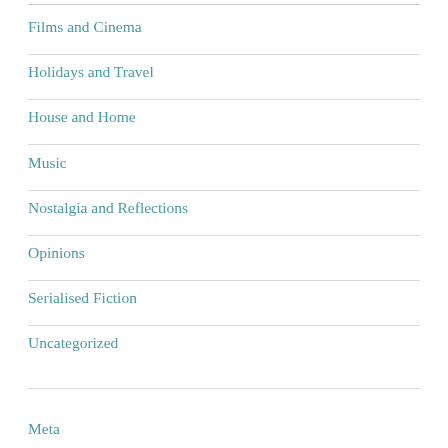Films and Cinema
Holidays and Travel
House and Home
Music
Nostalgia and Reflections
Opinions
Serialised Fiction
Uncategorized
Meta